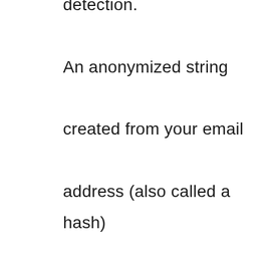detection. An anonymized string created from your email address (also called a hash) may be provided to the Gravatar service to see if you are using it. The Gravatar service privacy policy is available here: